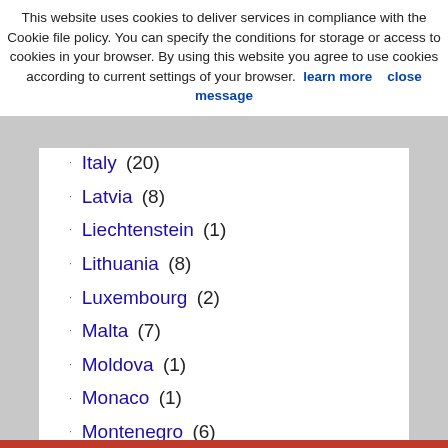This website uses cookies to deliver services in compliance with the Cookie file policy. You can specify the conditions for storage or access to cookies in your browser. By using this website you agree to use cookies according to current settings of your browser.  learn more    close message
Italy (20)
Latvia (8)
Liechtenstein (1)
Lithuania (8)
Luxembourg (2)
Malta (7)
Moldova (1)
Monaco (1)
Montenegro (6)
Netherlands (10)
North Macedonia (5)
Norway (17)
Poland (11)
Portugal (31)
Romania (5)
Russia (3)